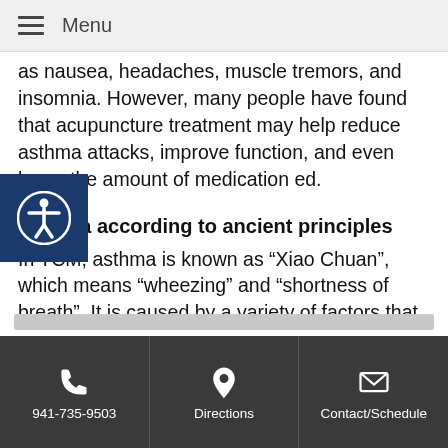Menu
as nausea, headaches, muscle tremors, and insomnia. However, many people have found that acupuncture treatment may help reduce asthma attacks, improve function, and even lower the amount of medication ed.
Asthma according to ancient principles
In TCM, asthma is known as “Xiao Chuan”, which means “wheezing” and “shortness of breath”. It is caused by a variety of factors that involve an imbalance with Wei Qi (pronounced “way chee”), and an imbalance with one or more of the organ systems, generally the Lungs, Spleen or Kidney.
941-735-9503 | Directions | Contact/Schedule